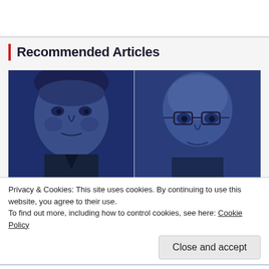Recommended Articles
[Figure (photo): Two men's faces side by side, rendered in blue-tinted monochrome. Left: dark-haired man in suit. Right: bald man with glasses.]
Privacy & Cookies: This site uses cookies. By continuing to use this website, you agree to their use.
To find out more, including how to control cookies, see here: Cookie Policy
Close and accept
Advance Commercial Relationships and ...